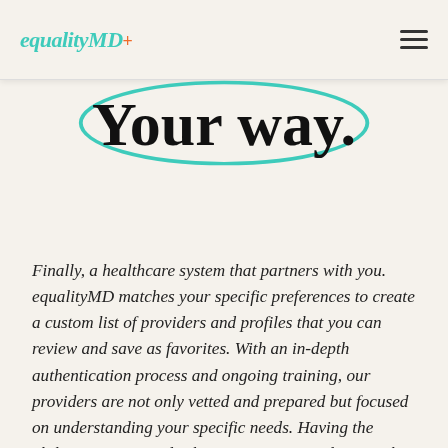equalityMD+
Your way.
Finally, a healthcare system that partners with you. equalityMD matches your specific preferences to create a custom list of providers and profiles that you can review and save as favorites. With an in-depth authentication process and ongoing training, our providers are not only vetted and prepared but focused on understanding your specific needs. Having the ability to review and select your own provider puts the decision in